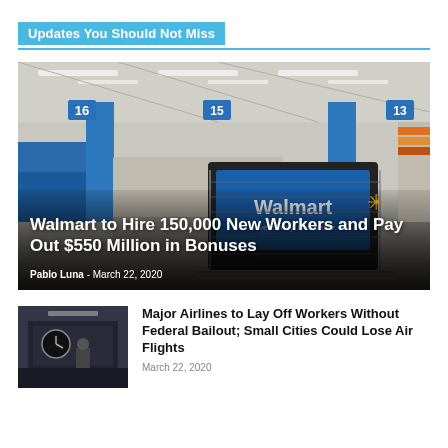Updates You Should Not Miss
[Figure (photo): Interior of a Walmart store showing checkout lanes with blue pillars and a shopping cart in the foreground displaying a Walmart sign reading 'Save money. Live better.']
Walmart to Hire 150,000 New Workers and Pay Out $550 Million in Bonuses
Pablo Luna - March 22, 2020
[Figure (photo): Small thumbnail image of an airport or transit area, dark toned, with a person visible]
Major Airlines to Lay Off Workers Without Federal Bailout; Small Cities Could Lose Air Flights
March 22, 2020